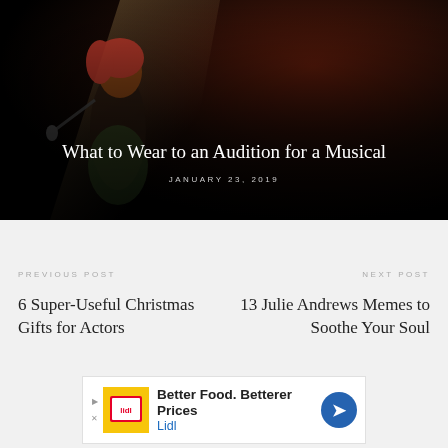[Figure (photo): A performer with red hair singing into a microphone on a dark stage with dramatic lighting, used as a hero image for a blog post]
What to Wear to an Audition for a Musical
JANUARY 23, 2019
PREVIOUS POST
6 Super-Useful Christmas Gifts for Actors
NEXT POST
13 Julie Andrews Memes to Soothe Your Soul
[Figure (other): Advertisement banner for Lidl: Better Food. Betterer Prices with Lidl logo and navigation arrow icon]